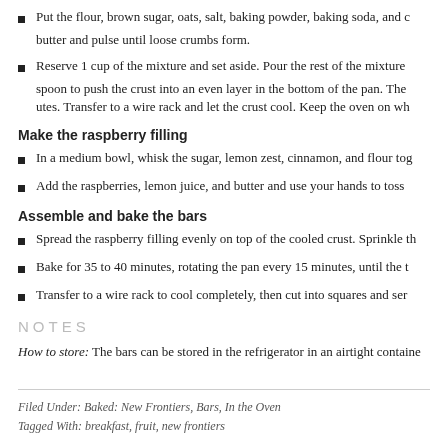Put the flour, brown sugar, oats, salt, baking powder, baking soda, and butter and pulse until loose crumbs form.
Reserve 1 cup of the mixture and set aside. Pour the rest of the mixture spoon to push the crust into an even layer in the bottom of the pan. The utes. Transfer to a wire rack and let the crust cool. Keep the oven on wh
Make the raspberry filling
In a medium bowl, whisk the sugar, lemon zest, cinnamon, and flour tog
Add the raspberries, lemon juice, and butter and use your hands to toss
Assemble and bake the bars
Spread the raspberry filling evenly on top of the cooled crust. Sprinkle th
Bake for 35 to 40 minutes, rotating the pan every 15 minutes, until the t
Transfer to a wire rack to cool completely, then cut into squares and ser
NOTES
How to store: The bars can be stored in the refrigerator in an airtight containe
Filed Under: Baked: New Frontiers, Bars, In the Oven
Tagged With: breakfast, fruit, new frontiers